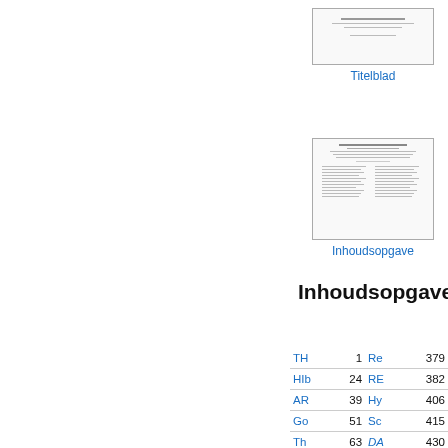[Figure (other): Small thumbnail of a Titelblad (title page) document]
Titelblad
[Figure (other): Small thumbnail of an Inhoudsopgave (table of contents) document page]
Inhoudsopgave
Inhoudsopgave
|  |  |  |  |
| --- | --- | --- | --- |
| TH | 1 | Re | 379 |
| HIb | 24 | RE | 382 |
| AR | 39 | Hy | 406 |
| Go | 51 | Sc | 415 |
| Th | 63 | DA | 430 |